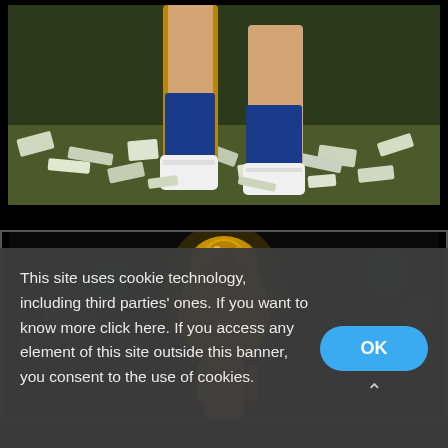[Figure (photo): Close-up photo of a soccer player's legs in blue socks and white cleats walking on a field covered in confetti and paper debris after a celebration.]
[Figure (photo): Photo of a hand holding up the FIFA World Cup trophy against a dark background with bokeh lights.]
This site uses cookie technology, including third parties' ones. If you want to know more click here. If you access any element of this site outside this banner, you consent to the use of cookies.